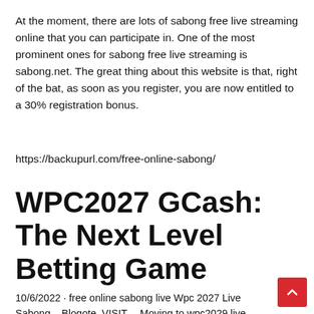At the moment, there are lots of sabong free live streaming online that you can participate in. One of the most prominent ones for sabong free live streaming is sabong.net. The great thing about this website is that, right of the bat, as soon as you register, you are now entitled to a 30% registration bonus.
https://backupurl.com/free-online-sabong/
WPC2027 GCash: The Next Level Betting Game
10/6/2022 · free online sabong live Wpc 2027 Live Sabong - Blogote. VISIT —Moving to wpc2029.live.